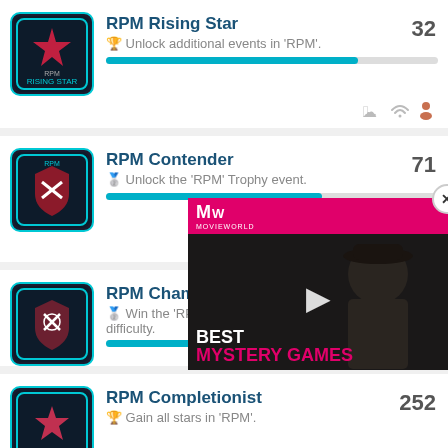RPM Rising Star — 32 — Unlock additional events in 'RPM'.
RPM Contender — 71 — Unlock the 'RPM' Trophy event.
RPM Champion — Win the 'RPM' Trophy event on any difficulty.
[Figure (screenshot): Ad overlay for 'Best Mystery Games' video from MW / Movieworld]
RPM Completionist — 252 — Gain all stars in 'RPM'.